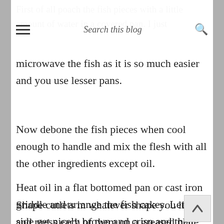Search this blog
First of all poach the fish pieces with a little amount of water in a covered pan. I just microwave the fish as it is so much easier and you use lesser pans.
Now debone the fish pieces when cool enough to handle and mix the flesh with all the other ingredients except oil.
Shape cutlets in whatever shape you like and press each of them on a greased plate to make the surface flat.
Heat oil in a flat bottomed pan or cast iron griddle and arrange the fish cakes. Let one side get nicely brown and crisp and then turn and fry on the other side till perfectly crisp and brown. Take care not to brown them too much